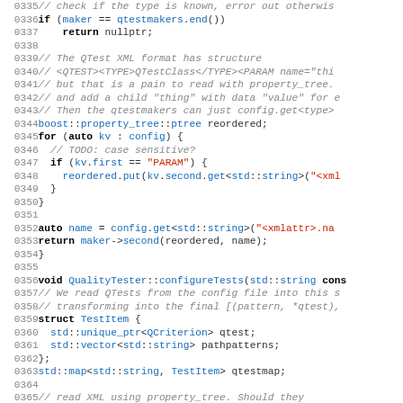[Figure (screenshot): C++ source code snippet showing lines 0335-0365, including functions with boost::property_tree, QualityTester::configureTests, and related structs.]